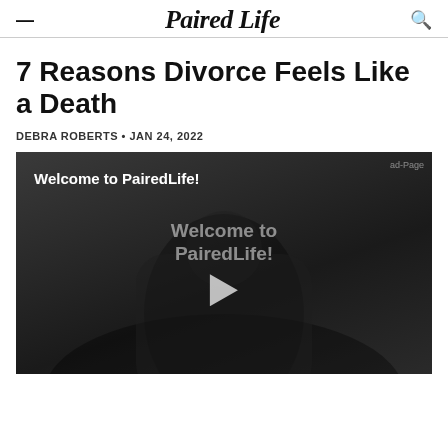Paired Life
7 Reasons Divorce Feels Like a Death
DEBRA ROBERTS • JAN 24, 2022
[Figure (screenshot): Video player thumbnail showing 'Welcome to PairedLife!' text with a play button overlay and a dark background with a person in the background. Center text reads 'Welcome to PairedLife!']